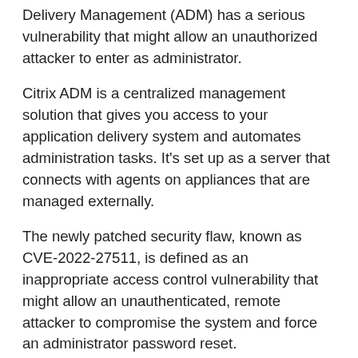Delivery Management (ADM) has a serious vulnerability that might allow an unauthorized attacker to enter as administrator.
Citrix ADM is a centralized management solution that gives you access to your application delivery system and automates administration tasks. It's set up as a server that connects with agents on appliances that are managed externally.
The newly patched security flaw, known as CVE-2022-27511, is defined as an inappropriate access control vulnerability that might allow an unauthenticated, remote attacker to compromise the system and force an administrator password reset.
Citrix states in their advisory that “the consequences of this could include the administrator password being reset at the next device restart, allowing a hacker with SSH access to login with the default administrator access information after the device has rebooted.” The vulnerability was fixed